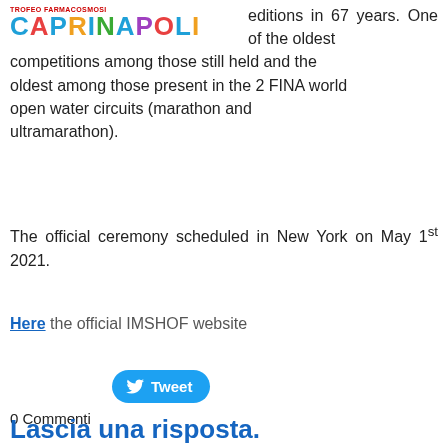TROFEO FARMACOSMOSI CAPRINAPOLI
editions in 67 years. One of the oldest competitions among those still held and the oldest among those present in the 2 FINA world open water circuits (marathon and ultramarathon).
The official ceremony scheduled in New York on May 1st 2021.
Here the official IMSHOF website
[Figure (other): Tweet button with Twitter bird icon]
0 Commenti
Lascia una risposta.